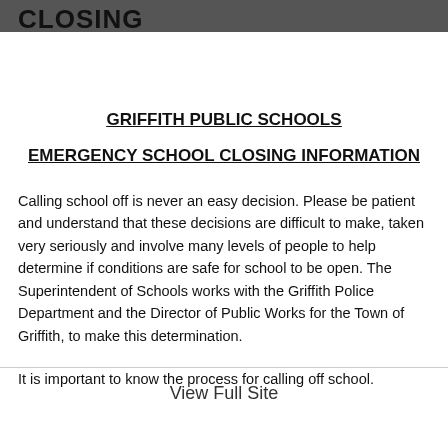CLOSING
GRIFFITH PUBLIC SCHOOLS
EMERGENCY SCHOOL CLOSING INFORMATION
Calling school off is never an easy decision. Please be patient and understand that these decisions are difficult to make, taken very seriously and involve many levels of people to help determine if conditions are safe for school to be open. The Superintendent of Schools works with the Griffith Police Department and the Director of Public Works for the Town of Griffith, to make this determination.
It is important to know the process for calling off school.
View Full Site